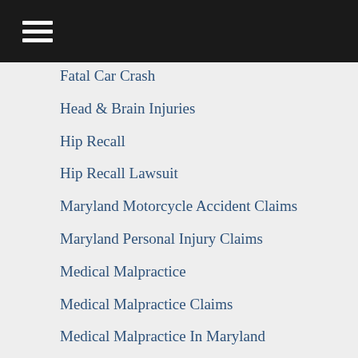Fatal Car Crash
Head & Brain Injuries
Hip Recall
Hip Recall Lawsuit
Maryland Motorcycle Accident Claims
Maryland Personal Injury Claims
Medical Malpractice
Medical Malpractice Claims
Medical Malpractice In Maryland
Motor Vehicle Accident Claims
Motor Vehicle Accidents
Motorcycle Accident Injury Lawsuits
Motorcycle Accidents